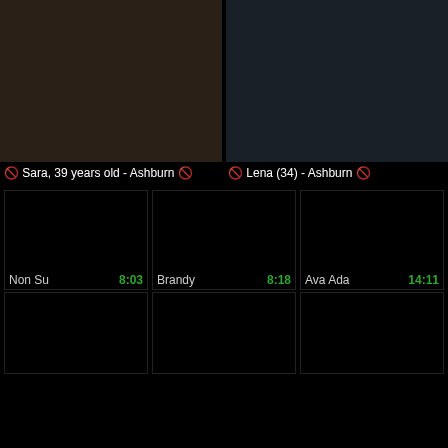[Figure (photo): Photo of Sara, 39 years old from Ashburn]
🔞 Sara, 39 years old - Ashburn 🔞
[Figure (photo): Photo of Lena (34) from Ashburn]
🔞 Lena (34) - Ashburn 🔞
[Figure (photo): Video thumbnail - Non Su, duration 8:03]
Non Su  8:03
[Figure (photo): Video thumbnail - Brandy, duration 8:18]
Brandy  8:18
[Figure (photo): Video thumbnail - Ava Ada, duration 14:11]
Ava Ada  14:11
[Figure (photo): Video thumbnail row 2 left]
[Figure (photo): Video thumbnail row 2 center]
[Figure (photo): Video thumbnail row 2 right]